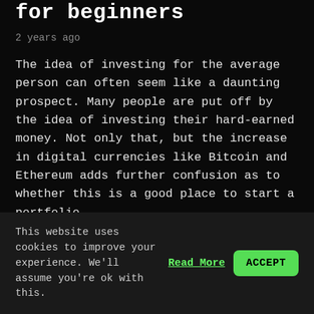for beginners
2 years ago
The idea of investing for the average person can often seem like a daunting prospect. Many people are put off by the idea of investing their hard-earned money. Not only that, but the increase in digital currencies like Bitcoin and Ethereum adds further confusion as to whether this is a good place to start a portfolio.
The beginning of 2017 was an incredible start for
This website uses cookies to improve your experience. We'll assume you're ok with this. Read More ACCEPT